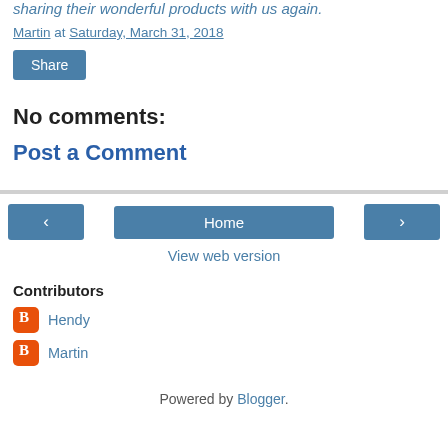sharing their wonderful products with us again.
Martin at Saturday, March 31, 2018
Share
No comments:
Post a Comment
Home
View web version
Contributors
Hendy
Martin
Powered by Blogger.